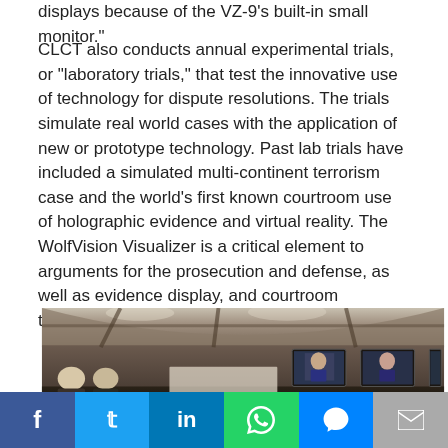displays because of the VZ-9's built-in small monitor."
CLCT also conducts annual experimental trials, or "laboratory trials," that test the innovative use of technology for dispute resolutions. The trials simulate real world cases with the application of new or prototype technology. Past lab trials have included a simulated multi-continent terrorism case and the world's first known courtroom use of holographic evidence and virtual reality. The WolfVision Visualizer is a critical element to arguments for the prosecution and defense, as well as evidence display, and courtroom telepresence.
[Figure (photo): Interior view of a courtroom with multiple video screens showing people, dark wood paneling, curved ceiling with skylights, and several people seated at the front.]
Facebook | Twitter | LinkedIn | WhatsApp | Messenger | Email